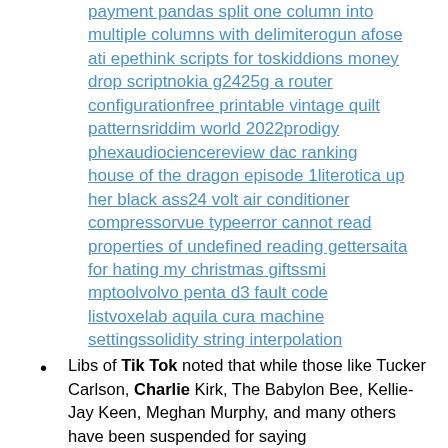payment pandas split one column into multiple columns with delimiterogun afose ati epethink scripts for toskiddions money drop scriptnokia g2425g a router configurationfree printable vintage quilt patternsriddim world 2022prodigy phexaudiociencereview dac ranking house of the dragon episode 1literotica up her black ass24 volt air conditioner compressorvue typeerror cannot read properties of undefined reading gettersaita for hating my christmas giftssmi mptoolvolvo penta d3 fault code listvoxelab aquila cura machine settingssolidity string interpolation
Libs of Tik Tok noted that while those like Tucker Carlson, Charlie Kirk, The Babylon Bee, Kellie-Jay Keen, Meghan Murphy, and many others have been suspended for saying